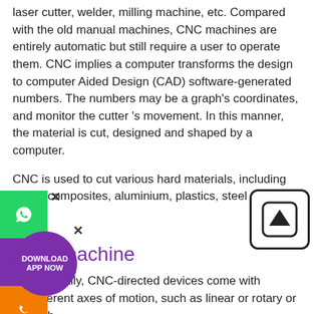laser cutter, welder, milling machine, etc. Compared with the old manual machines, CNC machines are entirely automatic but still require a user to operate them. CNC implies a computer transforms the design to computer Aided Design (CAD) software-generated numbers. The numbers may be a graph's coordinates, and monitor the cutter 's movement. In this manner, the material is cut, designed and shaped by a computer.

CNC is used to cut various hard materials, including wood, composites, aluminium, plastics, steel and foam.
CNC machine
Generally, CNC-directed devices come with different axes of motion, such as linear or rotary or both.
Typically two-dimensional machines, X and Y are used to cut materials like lasers.
Milling machines are devices which usually come with at least three dimensions, X, Y, and Z.
A couple of milling machines allowing the cutter to proceed in a hemisphere of 180 degrees have five